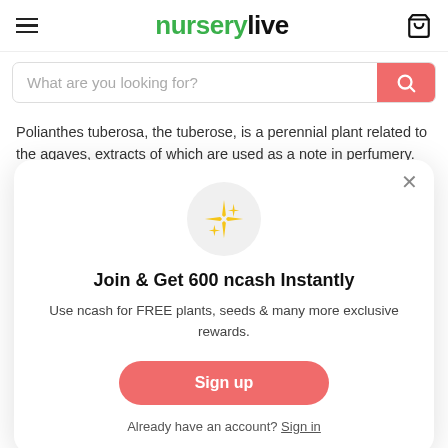nurserylive (logo with hamburger menu and cart icon)
[Figure (screenshot): Search bar with placeholder 'What are you looking for?' and a red/salmon search button with magnifying glass icon]
Polianthes tuberosa, the tuberose, is a perennial plant related to the agaves, extracts of which are used as a note in perfumery. The
[Figure (infographic): Modal popup with sparkle icon, heading 'Join & Get 600 ncash Instantly', description text, Sign up button, and Sign in link]
Join & Get 600 ncash Instantly
Use ncash for FREE plants, seeds & many more exclusive rewards.
Already have an account? Sign in